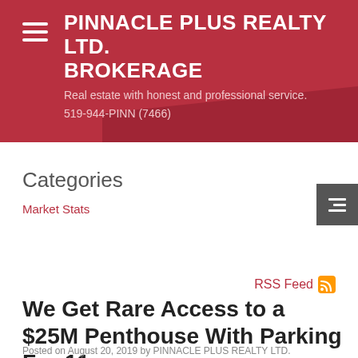PINNACLE PLUS REALTY LTD. BROKERAGE
Real estate with honest and professional service.
519-944-PINN (7466)
Categories
Market Stats
RSS Feed
We Get Rare Access to a $25M Penthouse With Parking For 11
Posted on August 20, 2019 by PINNACLE PLUS REALTY LTD.